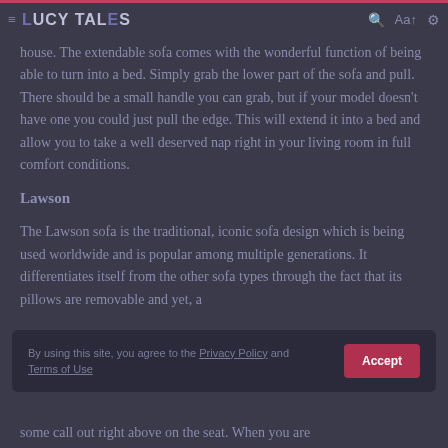≡  LUCY TALES  🔍  Aa ↑  ⚙
house. The extendable sofa comes with the wonderful function of being able to turn into a bed. Simply grab the lower part of the sofa and pull. There should be a small handle you can grab, but if your model doesn't have one you could just pull the edge. This will extend it into a bed and allow you to take a well deserved nap right in your living room in full comfort conditions.
Lawson
The Lawson sofa is the traditional, iconic sofa design which is being used worldwide and is popular among multiple generations. It differentiates itself from the other sofa types through the fact that its pillows are removable and yet, a
By using this site, you agree to the Privacy Policy and Terms of Use
some call out right above on the seat. When you are